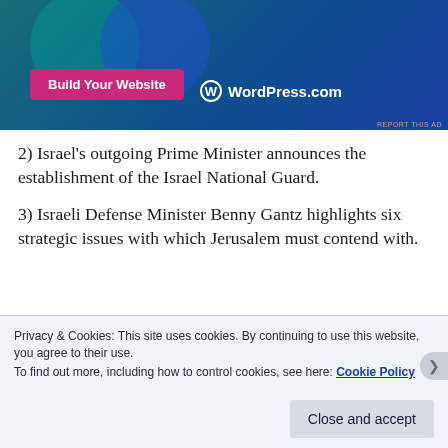[Figure (screenshot): WordPress.com advertisement banner with teal and blue gradient background, overlapping circles, a pink 'Build Your Website' button, and WordPress.com logo in white text. A 'REPORT THIS AD' link appears at bottom right.]
2) Israel’s outgoing Prime Minister announces the establishment of the Israel National Guard.
3) Israeli Defense Minister Benny Gantz highlights six strategic issues with which Jerusalem must contend with.
Privacy & Cookies: This site uses cookies. By continuing to use this website, you agree to their use.
To find out more, including how to control cookies, see here: Cookie Policy
Close and accept